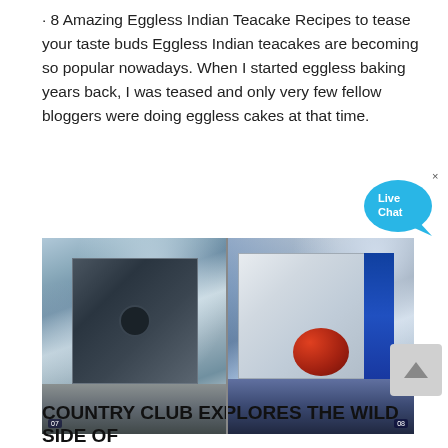· 8 Amazing Eggless Indian Teacake Recipes to tease your taste buds Eggless Indian teacakes are becoming so popular nowadays. When I started eggless baking years back, I was teased and only very few fellow bloggers were doing eggless cakes at that time.
[Figure (photo): Two industrial machinery photos side by side: left shows a large dark metal enclosure in a factory warehouse; right shows white and blue industrial machinery with a red drum component in a factory setting. Watermark stamps visible on each photo.]
COUNTRY CLUB EXPLORES THE WILD SIDE OF